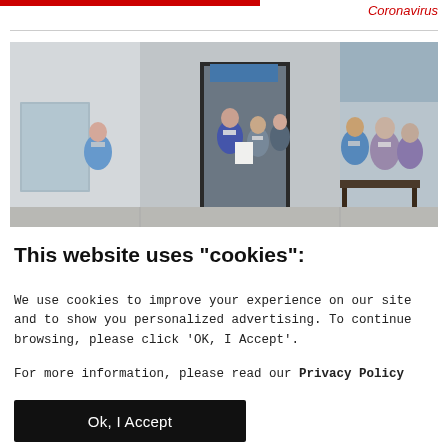Coronavirus
[Figure (photo): People wearing face masks standing outside and near the entrance of a building, some holding papers, during the COVID-19 pandemic.]
This website uses "cookies":
We use cookies to improve your experience on our site and to show you personalized advertising. To continue browsing, please click ‘OK, I Accept’.
For more information, please read our Privacy Policy
Ok, I Accept